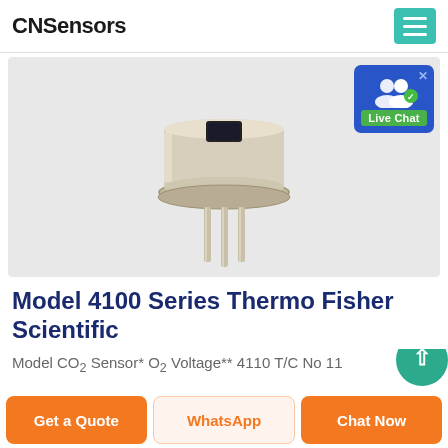CNSensors
[Figure (photo): A metal TO-type sensor package with three lead pins and a small rectangular optical window on top, shown on a light gray background. A Live Chat badge is visible in the top right corner.]
Model 4100 Series Thermo Fisher Scientific
Model CO2 Sensor* O2 Voltage** 4110 T/C No 11